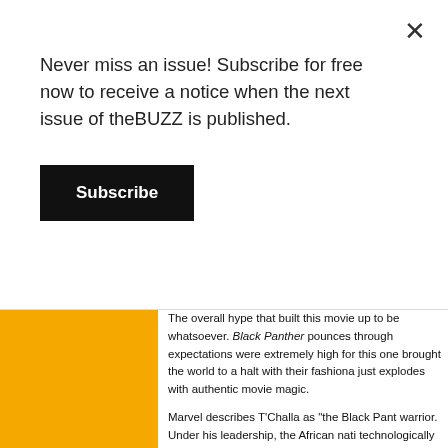Never miss an issue! Subscribe for free now to receive a notice when the next issue of theBUZZ is published.
Subscribe
The overall hype that built this movie up to be whatsoever. Black Panther pounces through expectations were extremely high for this one brought the world to a halt with their fashiona just explodes with authentic movie magic.
Marvel describes T'Challa as "the Black Pant warrior. Under his leadership, the African nati technologically advanced countries in the wo Avengers, his first loyalty lies with his people, Boseman doesn't just embody this, he's beco that his character exudes is not only heartwa